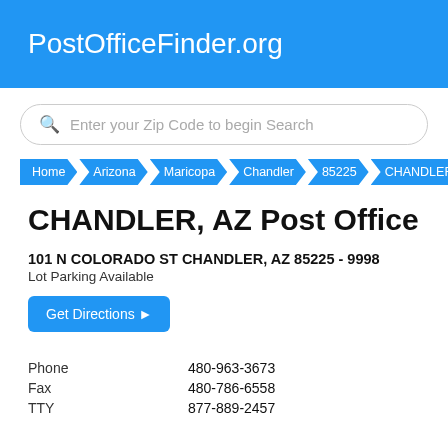PostOfficeFinder.org
[Figure (other): Search box with placeholder text: Enter your Zip Code to begin Search]
Home > Arizona > Maricopa > Chandler > 85225 > CHANDLER
CHANDLER, AZ Post Office
101 N COLORADO ST CHANDLER, AZ 85225 - 9998
Lot Parking Available
Get Directions ▶
| Phone | 480-963-3673 |
| Fax | 480-786-6558 |
| TTY | 877-889-2457 |